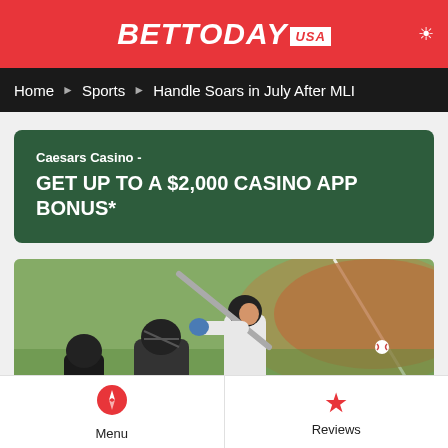BETTODAY USA
Home › Sports › Handle Soars in July After MLI
Caesars Casino -
GET UP TO A $2,000 CASINO APP BONUS*
[Figure (photo): Baseball batter in white uniform mid-swing at home plate, with catcher and umpire, at a baseball stadium with green grass and dirt infield visible]
Menu   Reviews